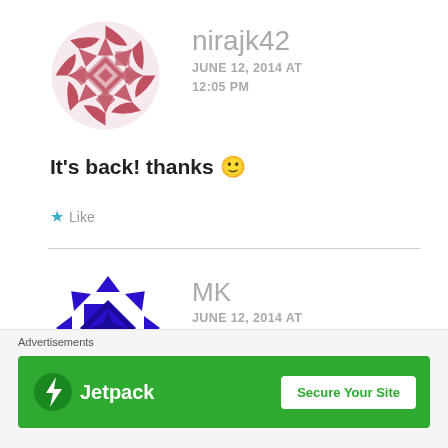[Figure (illustration): Avatar/gravatar icon for user nirajk42 — decorative geometric/snowflake pattern in rose/mauve red color]
nirajk42
JUNE 12, 2014 AT 12:05 PM
It's back! thanks 🙂
★ Like
[Figure (illustration): Avatar/gravatar icon for user MK — geometric checkerboard/shield pattern in deep blue/indigo color]
MK
JUNE 12, 2014 AT 1:12 PM
⊗
Advertisements
[Figure (logo): Jetpack advertisement banner — green background, Jetpack logo with lightning bolt icon, text 'Jetpack', white button 'Secure Your Site']